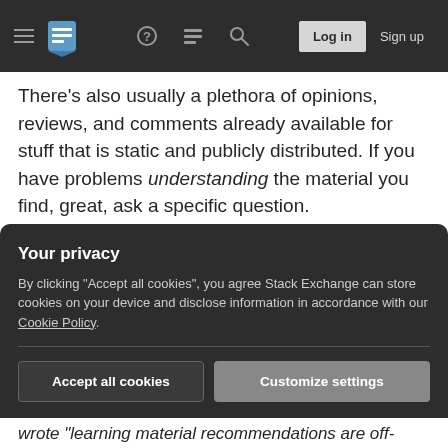Stack Exchange navigation bar with hamburger menu, logo, help, discussion, search icons, Log in and Sign up buttons
There's also usually a plethora of opinions, reviews, and comments already available for stuff that is static and publicly distributed. If you have problems understanding the material you find, great, ask a specific question.
An exception I'd make to this is a request for primary sources. In context, that means the original documentation for foobar. Questions about that have a clear and objective answer, and, as opposed to secondary sources (such as "Online course that covers Unix/Linux Systems programming", or Stack
Your privacy
By clicking "Accept all cookies", you agree Stack Exchange can store cookies on your device and disclose information in accordance with our Cookie Policy.
Accept all cookies   Customize settings
wrote "learning material recommendations are off-